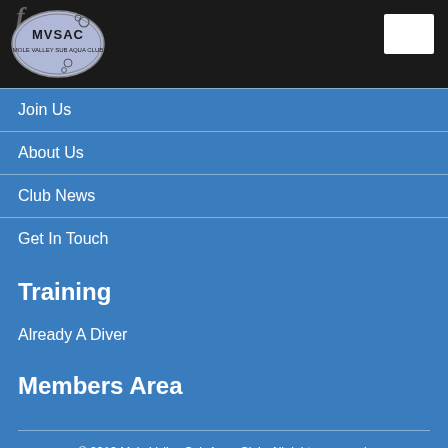[Figure (logo): MVSAC oval logo on dark header bar with Facebook icon and white search box]
Join Us
About Us
Club News
Get In Touch
Training
Already A Diver
Members Area
© 2019 Mole Valley Sub Aqua Club. All rights reserved.